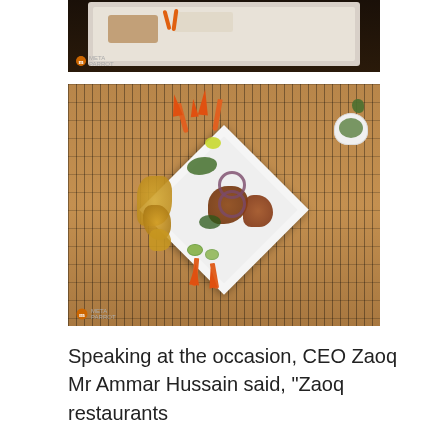[Figure (photo): Top portion of a food photo showing a white plate with fish/meat dish and rice on a dark wooden table, with a small orange watermark logo in bottom-left corner of the image]
[Figure (photo): Overhead view of an elaborate restaurant dish on a diamond-shaped white plate placed on a bamboo mat. The plate contains grilled/fried cauliflower, grilled meat/fish, onion rings, green herbs, lime wedges, and carrot flower garnishes. A small white sauce bowl with herb sauce is beside the plate. Orange watermark logo visible in bottom-left corner.]
Speaking at the occasion, CEO Zaoq Mr Ammar Hussain said, “Zaoq restaurants